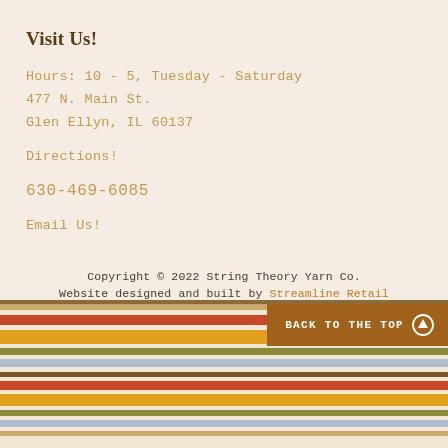Visit Us!
Hours: 10 - 5, Tuesday - Saturday
477 N. Main St.
Glen Ellyn, IL 60137
Directions!
630-469-6085
Email Us!
Copyright © 2022 String Theory Yarn Co.
Website designed and built by Streamline Retail
[Figure (illustration): Decorative horizontal stripes in multiple colors at the bottom of the page: muted brown, red/orange, light blue/lavender, olive/mustard yellow, white, repeated pattern]